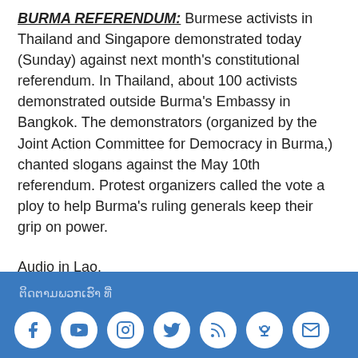BURMA REFERENDUM: Burmese activists in Thailand and Singapore demonstrated today (Sunday) against next month's constitutional referendum. In Thailand, about 100 activists demonstrated outside Burma's Embassy in Bangkok. The demonstrators (organized by the Joint Action Committee for Democracy in Burma,) chanted slogans against the May 10th referendum. Protest organizers called the vote a ploy to help Burma's ruling generals keep their grip on power.
Audio in Lao.
ຕິດຕາມພວກເຮົາ ທີ່